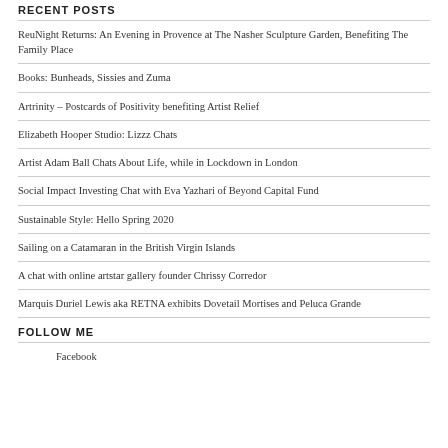RECENT POSTS
ReuNight Returns: An Evening in Provence at The Nasher Sculpture Garden, Benefiting The Family Place
Books: Bunheads, Sissies and Zuma
Artrinity – Postcards of Positivity benefiting Artist Relief
Elizabeth Hooper Studio: Lizzz Chats
Artist Adam Ball Chats About Life, while in Lockdown in London
Social Impact Investing Chat with Eva Yazhari of Beyond Capital Fund
Sustainable Style: Hello Spring 2020
Sailing on a Catamaran in the British Virgin Islands
A chat with online artstar gallery founder Chrissy Corredor
Marquis Duriel Lewis aka RETNA exhibits Dovetail Mortises and Peluca Grande
FOLLOW ME
Facebook